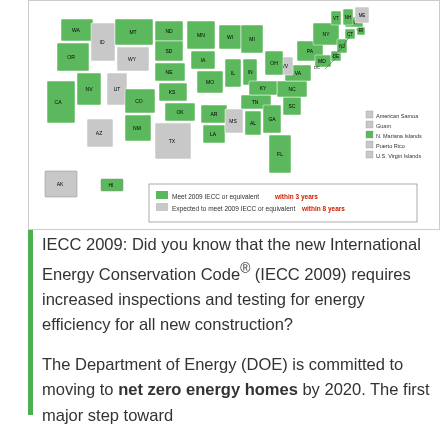[Figure (map): Map of the United States showing states that meet 2009 IECC or equivalent within 3 years (green) and states expected to meet 2009 IECC or equivalent within 8 years (gray). Includes legend with American Samoa, Guam, N. Mariana Islands, Puerto Rico, U.S. Virgin Islands.]
IECC 2009: Did you know that the new International Energy Conservation Code® (IECC 2009) requires increased inspections and testing for energy efficiency for all new construction?
The Department of Energy (DOE) is committed to moving to net zero energy homes by 2020. The first major step toward